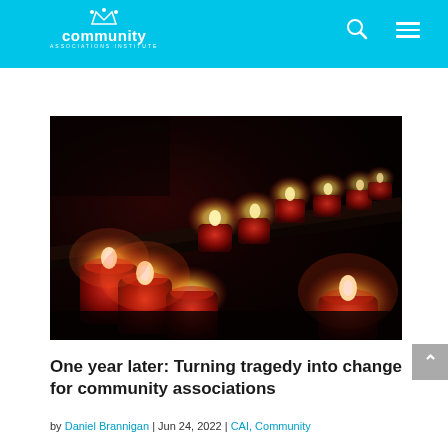community associations institute
[Figure (photo): Rows of red votive candles lit in a dark setting, arranged diagonally, glowing warmly against a dark background — a memorial/remembrance scene.]
One year later: Turning tragedy into change for community associations
by Daniel Brannigan | Jun 24, 2022 | CAI, Community